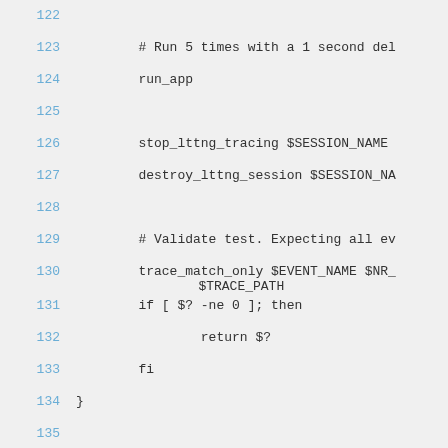122
123        # Run 5 times with a 1 second del
124        run_app
125
126        stop_lttng_tracing $SESSION_NAME
127        destroy_lttng_session $SESSION_NA
128
129        # Validate test. Expecting all ev
130        trace_match_only $EVENT_NAME $NR_
        $TRACE_PATH
131        if [ $? -ne 0 ]; then
132                return $?
133        fi
134 }
135
136 function test_log4j_loglevel ()